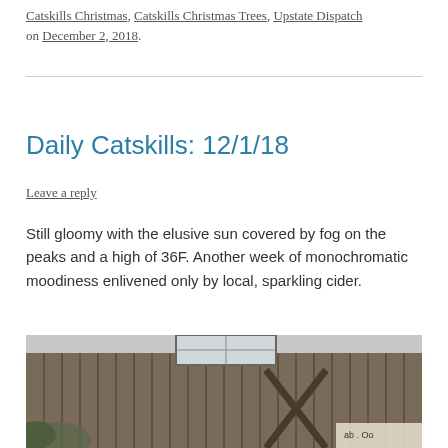Catskills Christmas, Catskills Christmas Trees, Upstate Dispatch on December 2, 2018.
Daily Catskills: 12/1/18
Leave a reply
Still gloomy with the elusive sun covered by fog on the peaks and a high of 36F. Another week of monochromatic moodiness enlivened only by local, sparkling cider.
[Figure (photo): Black and white photograph of a rustic wooden barn or building with vertical wood siding and a window visible at the top, with some foliage in the lower left corner and a partially visible sign in the lower right.]